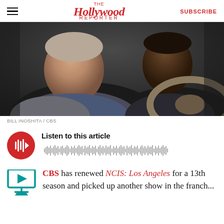The Hollywood Reporter | SUBSCRIBE
[Figure (photo): Two men sitting in a car — one light-skinned man in the foreground wearing a blue shirt and grey jacket, one dark-skinned man in the background near the steering wheel, both looking forward.]
BILL INOSHITA / CBS
[Figure (infographic): Red play button circle with audio waveform graphic and text 'Listen to this article']
CBS has renewed NCIS: Los Angeles for a 13th season and picked up another show in the franchise that will be continuing...